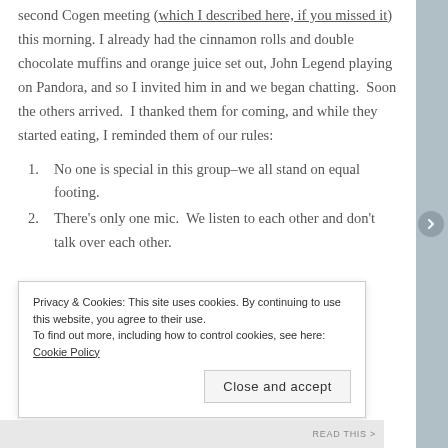second Cogen meeting (which I described here, if you missed it) this morning. I already had the cinnamon rolls and double chocolate muffins and orange juice set out, John Legend playing on Pandora, and so I invited him in and we began chatting.  Soon the others arrived.  I thanked them for coming, and while they started eating, I reminded them of our rules:
No one is special in this group–we all stand on equal footing.
There's only one mic.  We listen to each other and don't talk over each other.
Privacy & Cookies: This site uses cookies. By continuing to use this website, you agree to their use. To find out more, including how to control cookies, see here: Cookie Policy